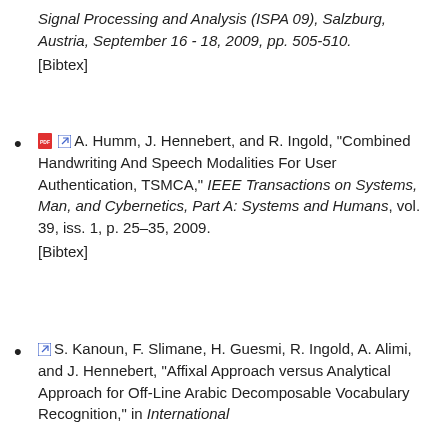Signal Processing and Analysis (ISPA 09), Salzburg, Austria, September 16 - 18, 2009, pp. 505-510.
[Bibtex]
A. Humm, J. Hennebert, and R. Ingold, "Combined Handwriting And Speech Modalities For User Authentication, TSMCA," IEEE Transactions on Systems, Man, and Cybernetics, Part A: Systems and Humans, vol. 39, iss. 1, p. 25–35, 2009.
[Bibtex]
S. Kanoun, F. Slimane, H. Guesmi, R. Ingold, A. Alimi, and J. Hennebert, "Affixal Approach versus Analytical Approach for Off-Line Arabic Decomposable Vocabulary Recognition," in International